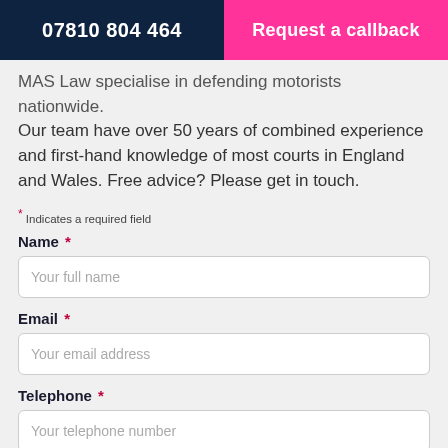07810 804 464 | Request a callback
MAS Law specialise in defending motorists nationwide. Our team have over 50 years of combined experience and first-hand knowledge of most courts in England and Wales. Free advice? Please get in touch.
* Indicates a required field
Name *
Your full name
Email *
Your email address
Telephone *
Your telephone number